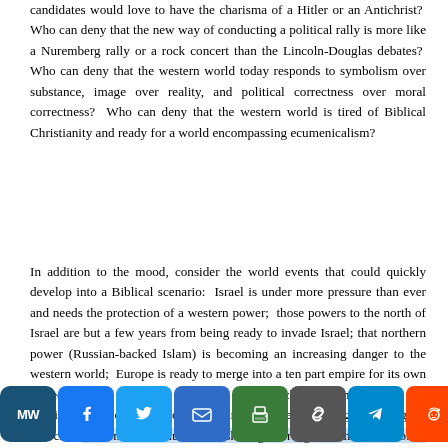candidates would love to have the charisma of a Hitler or an Antichrist?  Who can deny that the new way of conducting a political rally is more like a Nuremberg rally or a rock concert than the Lincoln-Douglas debates?  Who can deny that the western world today responds to symbolism over substance, image over reality, and political correctness over moral correctness?  Who can deny that the western world is tired of Biblical Christianity and ready for a world encompassing ecumenicalism?
In addition to the mood, consider the world events that could quickly develop into a Biblical scenario:  Israel is under more pressure than ever and needs the protection of a western power;  those powers to the north of Israel are but a few years from being ready to invade Israel; that northern power (Russian-backed Islam) is becoming an increasing danger to the western world;  Europe is ready to merge into a ten part empire for its own protection and economic stability;  all branches of Christendom are running back to Rome for unity and a more “meaningful” liturgical church;  economic communism is sharing more government controlled programs;  and perhaps most striking of all, a
[Figure (other): Social media sharing toolbar with icons: MW (MeWe), Facebook, Twitter, Email, Print, Copy Link, Telegram, Reddit, Share+]